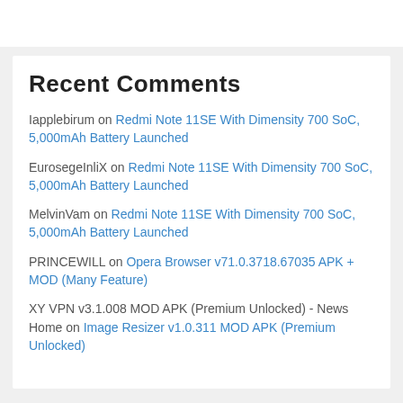Recent Comments
Iapplebirum on Redmi Note 11SE With Dimensity 700 SoC, 5,000mAh Battery Launched
EurosegeInliX on Redmi Note 11SE With Dimensity 700 SoC, 5,000mAh Battery Launched
MelvinVam on Redmi Note 11SE With Dimensity 700 SoC, 5,000mAh Battery Launched
PRINCEWILL on Opera Browser v71.0.3718.67035 APK + MOD (Many Feature)
XY VPN v3.1.008 MOD APK (Premium Unlocked) - News Home on Image Resizer v1.0.311 MOD APK (Premium Unlocked)